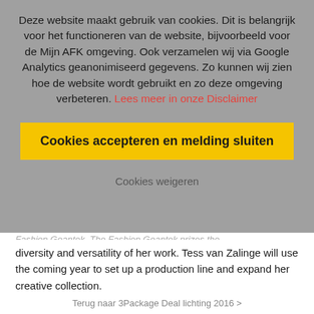Deze website maakt gebruik van cookies. Dit is belangrijk voor het functioneren van de website, bijvoorbeeld voor de Mijn AFK omgeving. Ook verzamelen wij via Google Analytics geanonimiseerd gegevens. Zo kunnen wij zien hoe de website wordt gebruikt en zo deze omgeving verbeteren. Lees meer in onze Disclaimer
Cookies accepteren en melding sluiten
Cookies weigeren
diversity and versatility of her work. Tess van Zalinge will use the coming year to set up a production line and expand her creative collection.
Terug naar 3Package Deal lichting 2016 >